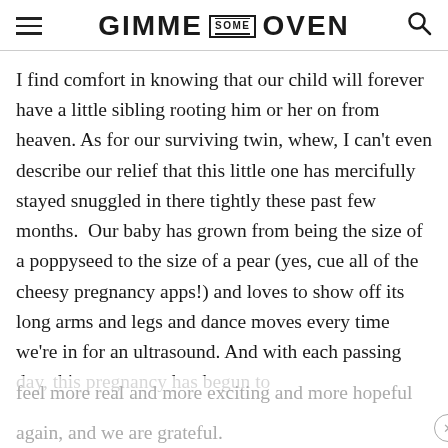GIMME SOME OVEN
I find comfort in knowing that our child will forever have a little sibling rooting him or her on from heaven. As for our surviving twin, whew, I can't even describe our relief that this little one has mercifully stayed snuggled in there tightly these past few months.  Our baby has grown from being the size of a poppyseed to the size of a pear (yes, cue all of the cheesy pregnancy apps!) and loves to show off its long arms and legs and dance moves every time we're in for an ultrasound. And with each passing day, this pregnancy has begun to feel more real and more exciting and more hopeful again, and we are grateful.